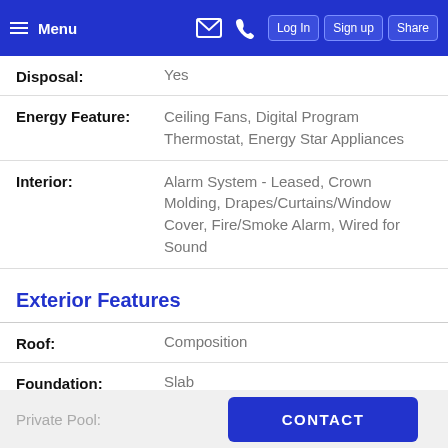Menu  Log In  Sign up  Share
| Disposal: | Yes |
| Energy Feature: | Ceiling Fans, Digital Program Thermostat, Energy Star Appliances |
| Interior: | Alarm System - Leased, Crown Molding, Drapes/Curtains/Window Cover, Fire/Smoke Alarm, Wired for Sound |
Exterior Features
| Roof: | Composition |
| Foundation: | Slab |
Private Pool:  No
CONTACT